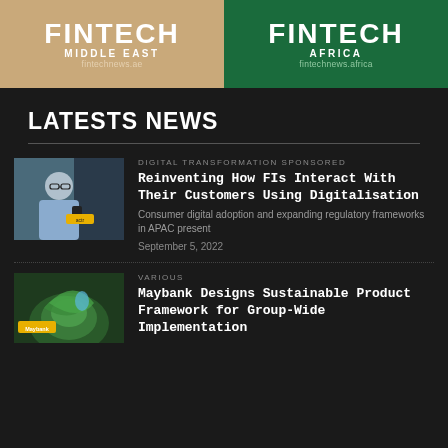[Figure (logo): Fintech Middle East logo banner on tan/beige background with text FINTECH MIDDLE EAST and fintechnews.ae]
[Figure (logo): Fintech Africa logo banner on green background with text FINTECH AFRICA and fintechnews.africa]
LATESTS NEWS
[Figure (photo): Man in glasses looking at phone, blue shirt, tech background]
DIGITAL TRANSFORMATION SPONSORED
Reinventing How FIs Interact With Their Customers Using Digitalisation
Consumer digital adoption and expanding regulatory frameworks in APAC present
September 5, 2022
[Figure (photo): Green plant close-up with Maybank logo overlay]
VARIOUS
Maybank Designs Sustainable Product Framework for Group-Wide Implementation